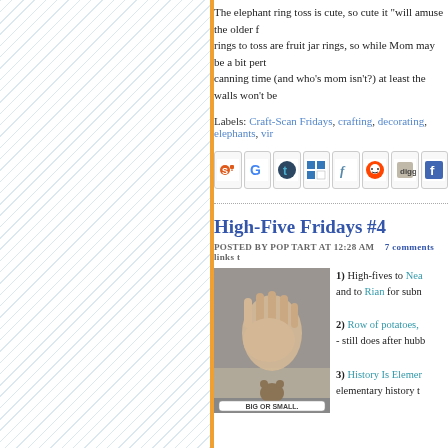The elephant ring toss is cute, so cute it "will amuse the older f... rings to toss are fruit jar rings, so while Mom may be a bit pert... canning time (and who's mom isn't?) at least the walls won't be...
Labels: Craft-Scan Fridays, crafting, decorating, elephants, vir...
[Figure (screenshot): Row of social sharing icons: StumbleUpon, Google Buzz, Tumblr, Delicious, FriendFeed, Reddit, Digg, Facebook]
High-Five Fridays #4
POSTED BY POP TART AT 12:28 AM   7 comments  links t...
[Figure (photo): Photo of a human hand and a small animal paw touching, outdoors on gravel. Caption reads BIG OR SMALL.]
1) High-fives to Nea... and to Rian for subn...
2) Row of potatoes, - still does after hubb...
3) History Is Elemer... elementary history t...